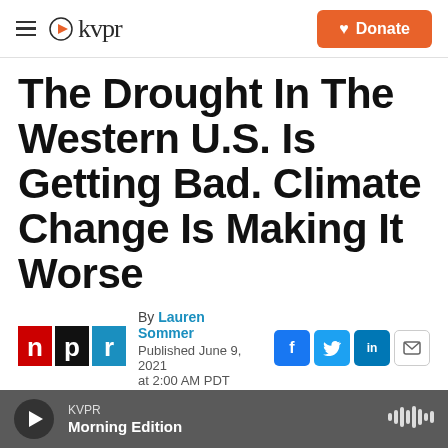kvpr | Donate
The Drought In The Western U.S. Is Getting Bad. Climate Change Is Making It Worse
By Lauren Sommer
Published June 9, 2021 at 2:00 AM PDT
[Figure (logo): NPR logo — red, black, and blue blocks spelling 'n p r']
[Figure (photo): Landscape photo of a reservoir with low water levels surrounded by forested hills and mountains under a blue sky]
KVPR
Morning Edition